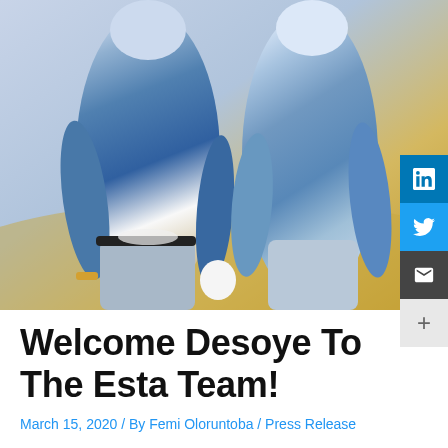[Figure (photo): Photo of two men standing outdoors wearing light blue shirts, one holding something in his hand, with a sandy/golden outdoor background]
Welcome Desoye To The Esta Team!
March 15, 2020 / By Femi Oloruntoba / Press Release
Welcome Desoye to the Esta team!